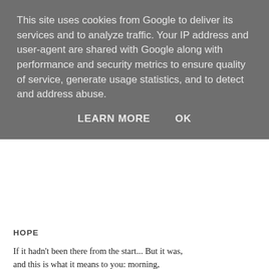This site uses cookies from Google to deliver its services and to analyze traffic. Your IP address and user-agent are shared with Google along with performance and security metrics to ensure quality of service, generate usage statistics, and to detect and address abuse.
LEARN MORE    OK
HOPE
If it hadn't been there from the start... But it was,
and this is what it means to you: morning,
no matter, without reason, above all.
Morning no matter, if it hadn't
been there without reason above all,
you huddled in an overcoat and gone.
Against the rain, against the wind, with this,
no matter you huddled in an overcoat
and doing the morning without reason.
Rain raking the trees, tattooing the windows,
the changing of the light, the distances
of sky and shore, this irresistible.
If it hadn't been there above all from the start,